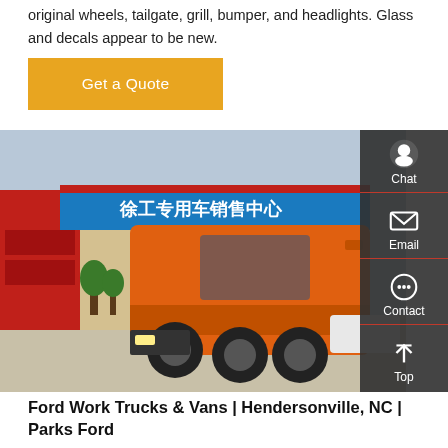original wheels, tailgate, grill, bumper, and headlights. Glass and decals appear to be new.
Get a Quote
[Figure (photo): Orange HOWO semi truck/tractor parked in front of a Chinese commercial vehicle dealership with red and blue signage.]
Ford Work Trucks & Vans | Hendersonville, NC | Parks Ford